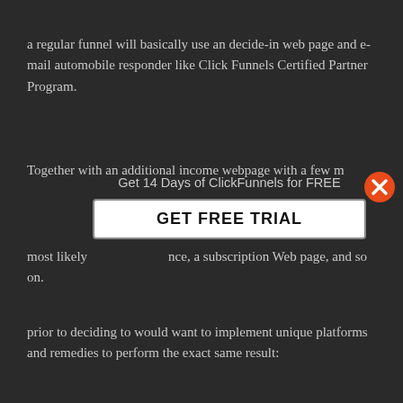a regular funnel will basically use an decide-in web page and e-mail automobile responder like Click Funnels Certified Partner Program.
Together with an additional income webpage with a few m
[Figure (screenshot): Popup overlay with text 'Get 14 Days of ClickFunnels for FREE' and a white button labeled 'GET FREE TRIAL', with an orange X close button in the top right corner]
most likely — ince, a subscription Web page, and so on.
prior to deciding to would want to implement unique platforms and remedies to perform the exact same result: